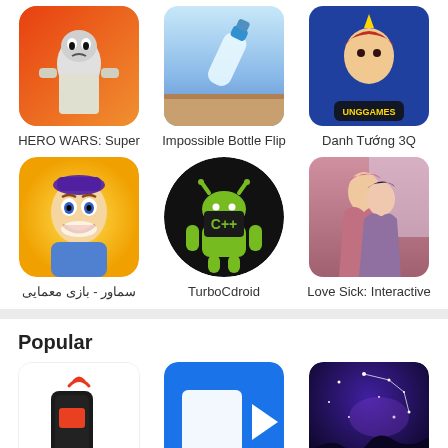[Figure (screenshot): App grid with 6 app icons: HERO WARS: Super, Impossible Bottle Flip, Danh Tuong 3Q, Samaor puzzle game, TurboCdroid, Love Sick: Interactive]
HERO WARS: Super
Impossible Bottle Flip
Danh Tướng 3Q
سماور - بازی معمایی
TurboCdroid
Love Sick: Interactive
Popular
[Figure (screenshot): Three popular app icons: IP WebCam - Acid, Screen Recorder, SkyView® Lite]
IP WebCam - Acid
Screen Recorder
SkyView® Lite